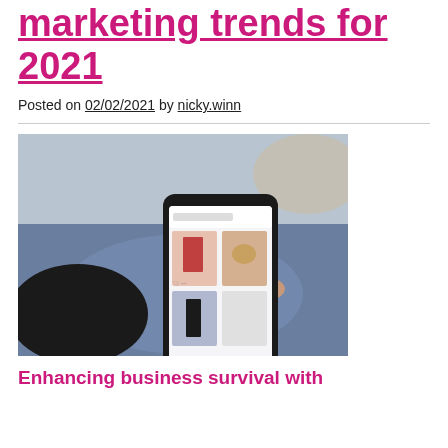marketing trends for 2021
Posted on 02/02/2021 by nicky.winn
[Figure (photo): Person holding a smartphone and browsing a fashion shopping app, with thumbnails of clothing items visible on the screen. The person is wearing a black jacket and jeans, seated in a chair.]
Enhancing business survival with